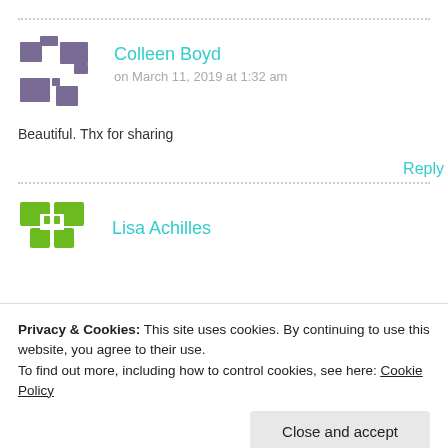Colleen Boyd
on March 11, 2019 at 1:32 am
Beautiful. Thx for sharing
Reply
Lisa Achilles
Privacy & Cookies: This site uses cookies. By continuing to use this website, you agree to their use.
To find out more, including how to control cookies, see here: Cookie Policy
Close and accept